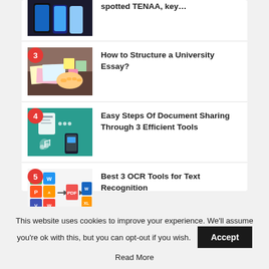spotted TENAA, key…
3 How to Structure a University Essay?
4 Easy Steps Of Document Sharing Through 3 Efficient Tools
5 Best 3 OCR Tools for Text Recognition
This website uses cookies to improve your experience. We'll assume you're ok with this, but you can opt-out if you wish.
Accept
Read More